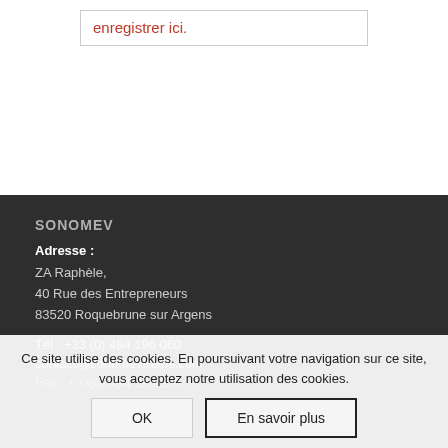enregistrer ici.
SONOMEV
Adresse : ZA Raphèle, 40 Rue des Entrepreneurs, 83520 Roquebrune sur Argens
Tél : +33 (0) 494 196 060
contact@sonomevfreins.com
Fax : +33(0) 494 193 250
Ce site utilise des cookies. En poursuivant votre navigation sur ce site, vous acceptez notre utilisation des cookies.